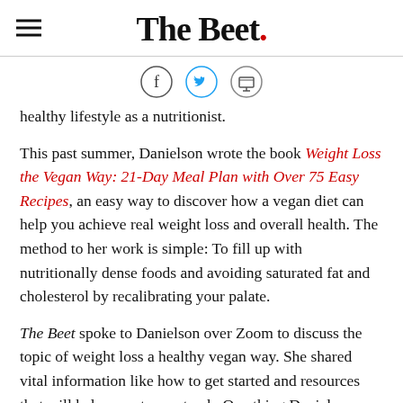The Beet.
[Figure (other): Social sharing icons: Facebook, Twitter, Print]
healthy lifestyle as a nutritionist.
This past summer, Danielson wrote the book Weight Loss the Vegan Way: 21-Day Meal Plan with Over 75 Easy Recipes, an easy way to discover how a vegan diet can help you achieve real weight loss and overall health. The method to her work is simple: To fill up with nutritionally dense foods and avoiding saturated fat and cholesterol by recalibrating your palate.
The Beet spoke to Danielson over Zoom to discuss the topic of weight loss a healthy vegan way. She shared vital information like how to get started and resources that will help you stay on track. One thing Danielson notes is that at